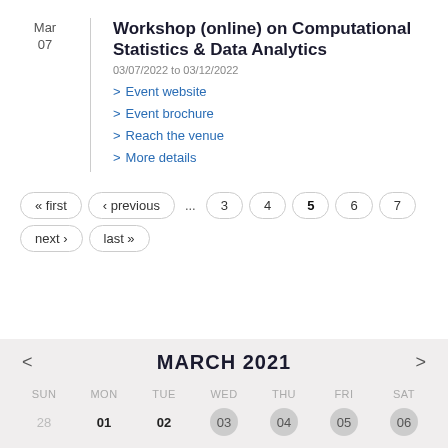Mar 07
Workshop (online) on Computational Statistics & Data Analytics
03/07/2022 to 03/12/2022
> Event website
> Event brochure
> Reach the venue
> More details
« first  ‹ previous  ...  3  4  5  6  7  next ›  last »
MARCH 2021 calendar with days SUN MON TUE WED THU FRI SAT and dates 28 01 02 03 04 05 06